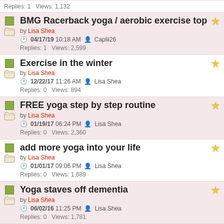Replies: 1   Views: 1,132
BMG Racerback yoga / aerobic exercise top by Lisa Shea 04/17/19 10:18 AM Caplii26 Replies: 1 Views: 2,599
Exercise in the winter by Lisa Shea 12/22/17 11:26 AM Lisa Shea Replies: 0 Views: 894
FREE yoga step by step routine by Lisa Shea 01/19/17 06:24 PM Lisa Shea Replies: 0 Views: 2,360
add more yoga into your life by Lisa Shea 01/01/17 09:06 PM Lisa Shea Replies: 0 Views: 1,689
Yoga staves off dementia by Lisa Shea 06/02/16 11:25 PM Lisa Shea Replies: 0 Views: 1,781
Mindfulness by Lisa Shea 05/10/16 07:29 PM Lisa Shea Replies: 0 Views: 1,919